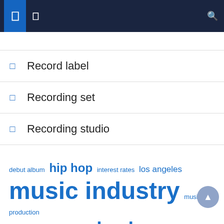[Navigation bar with menu icons and search]
Record label
Recording set
Recording studio
debut album  hip hop  interest rates  los angeles  music industry  music production  payday lenders  payday loans  record company  recording studios  record label  short term  singer songwriter  state art  united states